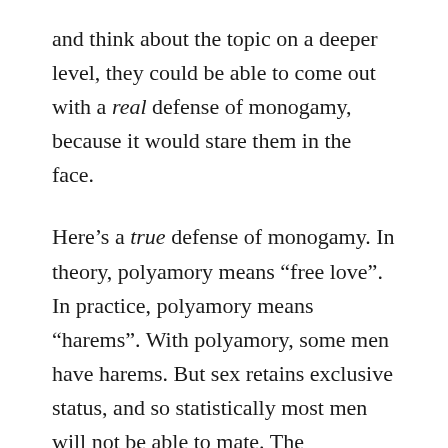and think about the topic on a deeper level, they could be able to come out with a real defense of monogamy, because it would stare them in the face.
Here's a true defense of monogamy. In theory, polyamory means “free love”. In practice, polyamory means “harems”. With polyamory, some men have harems. But sex retains exclusive status, and so statistically most men will not be able to mate. The inequality in history was so stark that, according to some studies, 80,000 years ago a shocking less than 6% of males passed on their genes. The result is a large number of bitter, desperate men. In history, times of increasing polyamory coincided with increasing civil strife, because desperate men start to get violent.